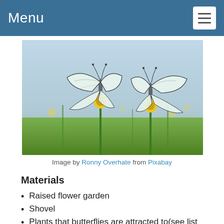Menu
[Figure (photo): Two white butterflies with black markings perched on yellow wildflowers in a green field with a soft blue-grey blurred background.]
Image by Ronny Overhate from Pixabay
Materials
Raised flower garden
Shovel
Plants that butterflies are attracted to(see list below)
Host plans for caterpillars